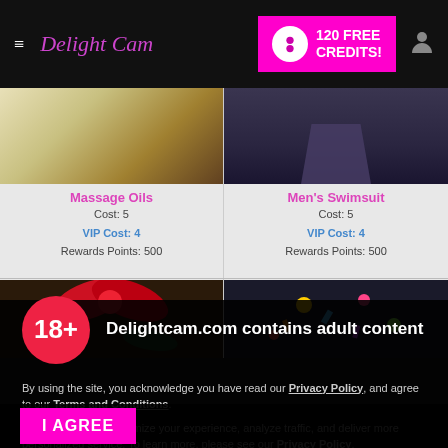≡ DelightCam — 120 FREE CREDITS!
Massage Oils
Cost: 5
VIP Cost: 4
Rewards Points: 500
Men's Swimsuit
Cost: 5
VIP Cost: 4
Rewards Points: 500
[Figure (photo): Gift with red ribbon / bow on dark foliage]
[Figure (photo): Colorful confetti/party decorations]
18+ Delightcam.com contains adult content
By using the site, you acknowledge you have read our Privacy Policy, and agree to our Terms and Conditions.
We use cookies to optimize your experience, analyze traffic, and deliver more personalized service. To learn more, please see our Privacy Policy.
I AGREE